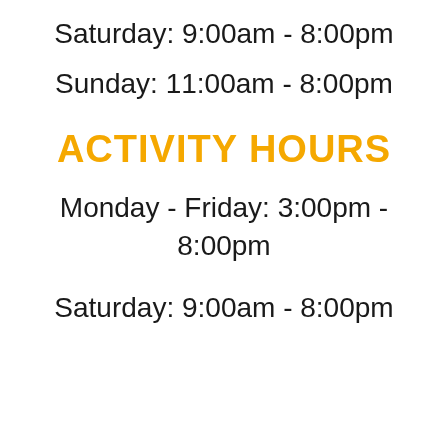Saturday: 9:00am - 8:00pm
Sunday: 11:00am - 8:00pm
ACTIVITY HOURS
Monday - Friday: 3:00pm - 8:00pm
Saturday: 9:00am - 8:00pm